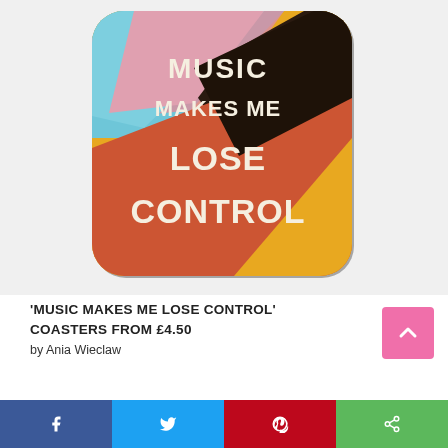[Figure (photo): A colorful coaster product with bold diagonal color bands (yellow/gold, sky blue, pink, dark brown/black, terracotta/red orange) and white bold text reading 'MUSIC MAKES ME LOSE CONTROL' on a rounded-rectangle shaped coaster with a dark shadow.]
'MUSIC MAKES ME LOSE CONTROL' COASTERS FROM £4.50
by Ania Wieclaw